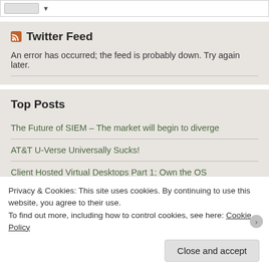[Figure (screenshot): Top bar with a small browser input/search widget]
Twitter Feed
An error has occurred; the feed is probably down. Try again later.
Top Posts
The Future of SIEM – The market will begin to diverge
AT&T U-Verse Universally Sucks!
Client Hosted Virtual Desktops Part 1; Own the OS
Privacy & Cookies: This site uses cookies. By continuing to use this website, you agree to their use.
To find out more, including how to control cookies, see here: Cookie Policy
Close and accept